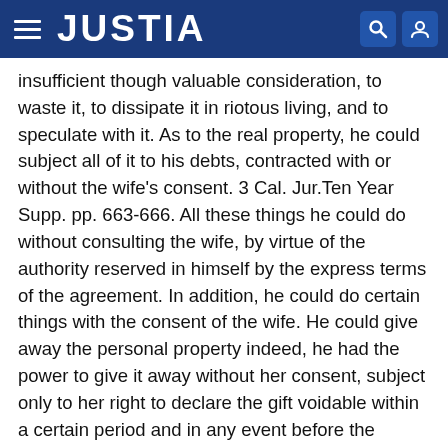JUSTIA
insufficient though valuable consideration, to waste it, to dissipate it in riotous living, and to speculate with it. As to the real property, he could subject all of it to his debts, contracted with or without the wife's consent. 3 Cal. Jur.Ten Year Supp. pp. 663-666. All these things he could do without consulting the wife, by virtue of the authority reserved in himself by the express terms of the agreement. In addition, he could do certain things with the consent of the wife. He could give away the personal property indeed, he had the power to give it away without her consent, subject only to her right to declare the gift voidable within a certain period and in any event before the property fell into the hands of a bona fide purchaser. The husband had reserved unto himself the right to convey away the real property, with the wife joining in the conveyance. Here again, if it stood in his name alone, he might convey it without her